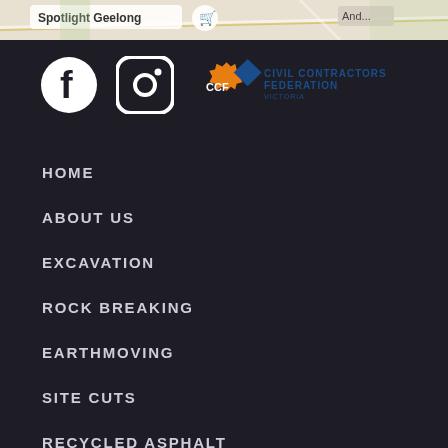[Figure (screenshot): Map strip at top showing Google Maps with 'Spotlight Geelong' label and shopping cart icon]
[Figure (logo): Social media icons: Facebook circle logo, Instagram circle logo, and Civil Contractors Federation (CCF) logo in blue and orange]
HOME
ABOUT US
EXCAVATION
ROCK BREAKING
EARTHMOVING
SITE CUTS
RECYCLED ASPHALT
EQUIPMENT HIRE